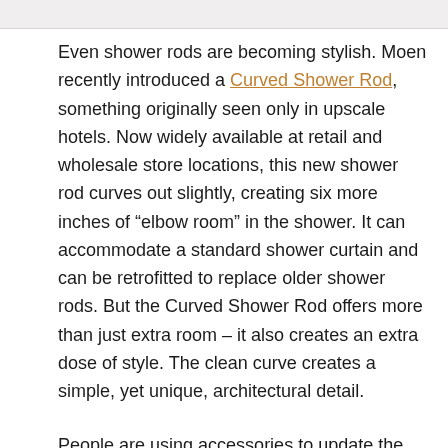Even shower rods are becoming stylish. Moen recently introduced a Curved Shower Rod, something originally seen only in upscale hotels. Now widely available at retail and wholesale store locations, this new shower rod curves out slightly, creating six more inches of "elbow room" in the shower. It can accommodate a standard shower curtain and can be retrofitted to replace older shower rods. But the Curved Shower Rod offers more than just extra room – it also creates an extra dose of style. The clean curve creates a simple, yet unique, architectural detail.
People are using accessories to update the look in their bath. Not only is it easy to switch them out, it's also